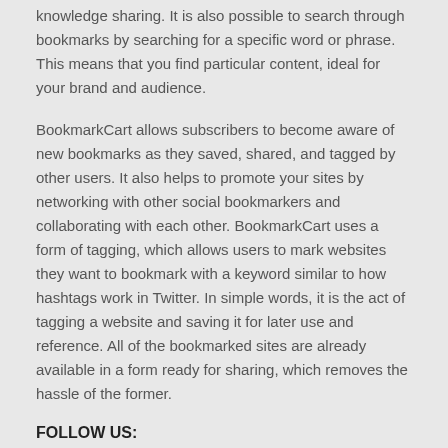knowledge sharing. It is also possible to search through bookmarks by searching for a specific word or phrase. This means that you find particular content, ideal for your brand and audience.
BookmarkCart allows subscribers to become aware of new bookmarks as they saved, shared, and tagged by other users. It also helps to promote your sites by networking with other social bookmarkers and collaborating with each other. BookmarkCart uses a form of tagging, which allows users to mark websites they want to bookmark with a keyword similar to how hashtags work in Twitter. In simple words, it is the act of tagging a website and saving it for later use and reference. All of the bookmarked sites are already available in a form ready for sharing, which removes the hassle of the former.
FOLLOW US:
[Figure (infographic): Row of social media icons: Facebook, Twitter, Instagram, LinkedIn, YouTube, Pinterest, Tumblr, Medium, Share]